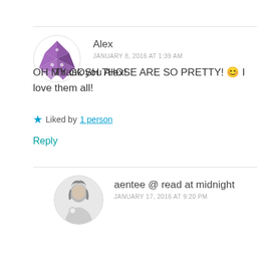Alex
JANUARY 8, 2016 AT 1:39 AM
OH MY GOSH THOSE ARE SO PRETTY! 😊 I love them all!
★ Liked by 1 person
Reply
aentee @ read at midnight
JANUARY 17, 2016 AT 9:20 PM
Thank you Alex!